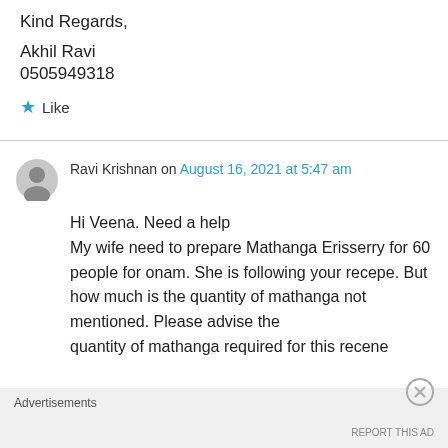Kind Regards,
Akhil Ravi
0505949318
★ Like
Ravi Krishnan on August 16, 2021 at 5:47 am
Hi Veena. Need a help
My wife need to prepare Mathanga Erisserry for 60 people for onam. She is following your recepe. But how much is the quantity of mathanga not mentioned. Please advise the quantity of mathanga required for this recene
Advertisements